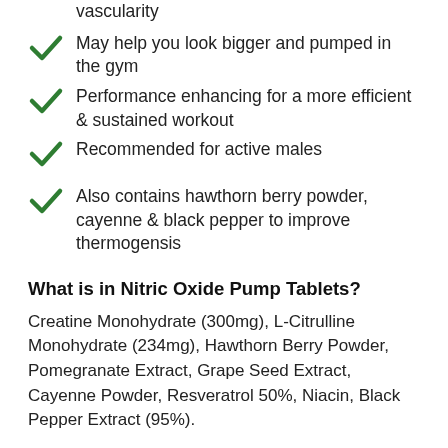vascularity
May help you look bigger and pumped in the gym
Performance enhancing for a more efficient & sustained workout
Recommended for active males
Also contains hawthorn berry powder, cayenne & black pepper to improve thermogensis
What is in Nitric Oxide Pump Tablets?
Creatine Monohydrate (300mg), L-Citrulline Monohydrate (234mg), Hawthorn Berry Powder, Pomegranate Extract, Grape Seed Extract, Cayenne Powder, Resveratrol 50%, Niacin, Black Pepper Extract (95%).